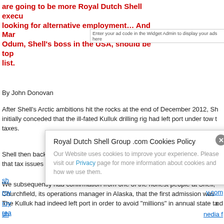are going to be more Royal Dutch Shell executives looking for alternative employment… And Marvin Odum, Shell's boss in the USA, should be top of the list.
Enter your ad code in the Widget Admin to display your ads here
By John Donovan
After Shell's Arctic ambitions hit the rocks at the end of December 2012, Shell initially conceded that the ill-fated Kulluk drilling rig had left port under tow to avoid taxes.
Shell then backtracked. Shell's chief executive Peter Voser rejected accusations that tax issues were a factor in the move.
We subsequently had confirmation from one of the honest people at Shell, Churchfield, its operations manager in Alaska, that the first admission was correct. The Kulluk had indeed left port in order to avoid "millions" in annual state taxes. read more
sh... royaldutchshellplc.com roy... royaldutchshelly.com roy... and sh... media f...
[Figure (screenshot): Cookie consent modal overlay for Royal Dutch Shell Group .com showing title 'Royal Dutch Shell Group .com Cookies Policy', body text about website cookie usage with a Privacy link, and a close button (X) in the top right corner.]